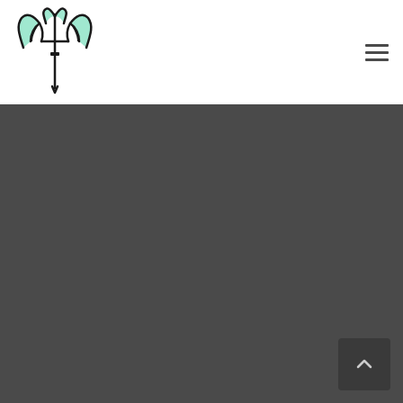[Figure (logo): Stylized logo with a cross/sword motif and bird wings in mint/teal color with dark outline]
[Figure (other): Hamburger menu icon (three horizontal lines) in dark gray]
[Figure (other): Dark gray main content area filling the lower portion of the page]
[Figure (other): Scroll-to-top button in bottom right corner with upward chevron arrow]